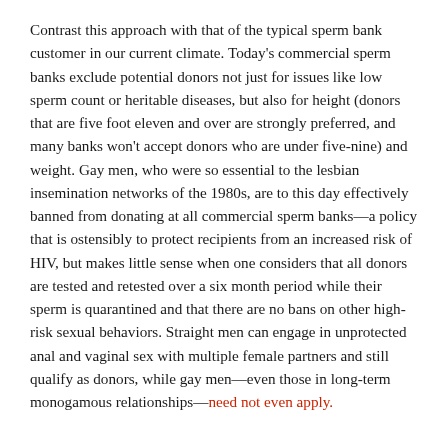Contrast this approach with that of the typical sperm bank customer in our current climate. Today's commercial sperm banks exclude potential donors not just for issues like low sperm count or heritable diseases, but also for height (donors that are five foot eleven and over are strongly preferred, and many banks won't accept donors who are under five-nine) and weight. Gay men, who were so essential to the lesbian insemination networks of the 1980s, are to this day effectively banned from donating at all commercial sperm banks—a policy that is ostensibly to protect recipients from an increased risk of HIV, but makes little sense when one considers that all donors are tested and retested over a six month period while their sperm is quarantined and that there are no bans on other high-risk sexual behaviors. Straight men can engage in unprotected anal and vaginal sex with multiple female partners and still qualify as donors, while gay men—even those in long-term monogamous relationships—need not even apply.